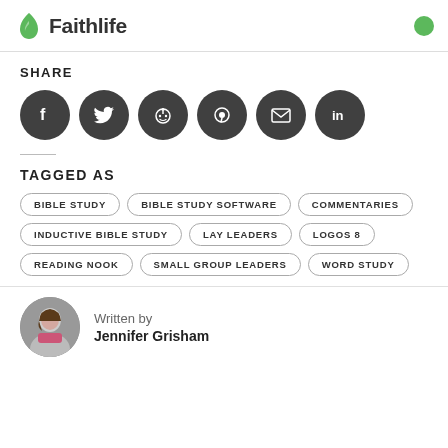Faithlife
SHARE
[Figure (infographic): Six dark circular social media share buttons: Facebook, Twitter, Reddit, Pinterest, Email, LinkedIn]
TAGGED AS
BIBLE STUDY
BIBLE STUDY SOFTWARE
COMMENTARIES
INDUCTIVE BIBLE STUDY
LAY LEADERS
LOGOS 8
READING NOOK
SMALL GROUP LEADERS
WORD STUDY
Written by Jennifer Grisham